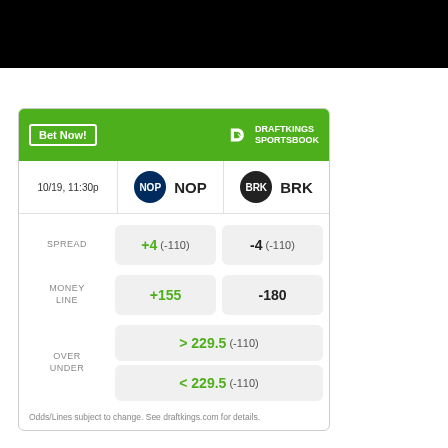[Figure (screenshot): Black banner bar at top of page]
|  | NOP | BRK |
| --- | --- | --- |
| 10/19, 11:30p | NOP | BRK |
| SPREAD | +4 (-110) | -4 (-110) |
| MONEY LINE | +155 | -180 |
| OVER UNDER | > 229.5 (-110) | < 229.5 (-110) |
Odds/Lines subject to change. See draftkings.com for details.